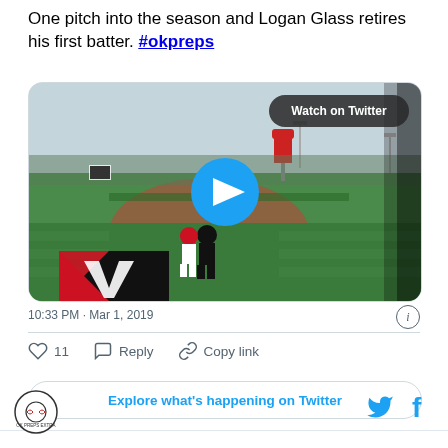One pitch into the season and Logan Glass retires his first batter. #okpreps
[Figure (screenshot): Twitter embedded video player showing a baseball game on a field with a pitcher at the mound. A 'Watch on Twitter' button appears in the top right. A blue play button circle is centered on the video. In the lower left is a red and black team logo on the field.]
10:33 PM · Mar 1, 2019
♡ 11   Reply   Copy link
Explore what's happening on Twitter
[Figure (logo): Circular logo with a baseball and text around the border]
[Figure (logo): Twitter bird icon (blue) and Facebook f icon (blue)]